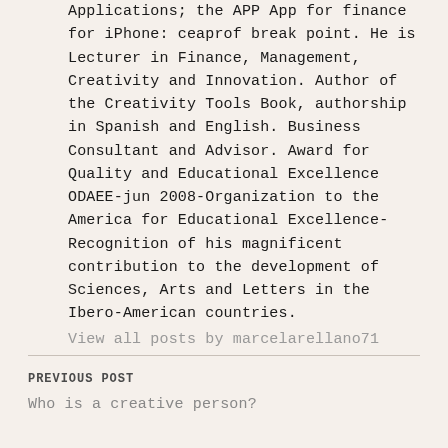Applications; the APP App for finance for iPhone: ceaprof break point. He is Lecturer in Finance, Management, Creativity and Innovation. Author of the Creativity Tools Book, authorship in Spanish and English. Business Consultant and Advisor. Award for Quality and Educational Excellence ODAEE-jun 2008-Organization to the America for Educational Excellence- Recognition of his magnificent contribution to the development of Sciences, Arts and Letters in the Ibero-American countries.
View all posts by marcelarellano71
PREVIOUS POST
Who is a creative person?